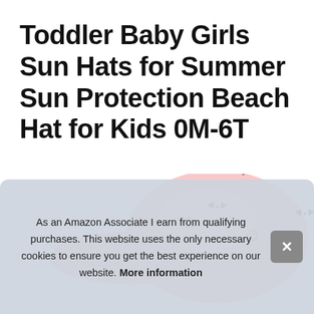Toddler Baby Girls Sun Hats for Summer Sun Protection Beach Hat for Kids 0M-6T
[Figure (photo): Pink baby sun hat with cat/bow pattern, partially visible at bottom of page]
As an Amazon Associate I earn from qualifying purchases. This website uses the only necessary cookies to ensure you get the best experience on our website. More information